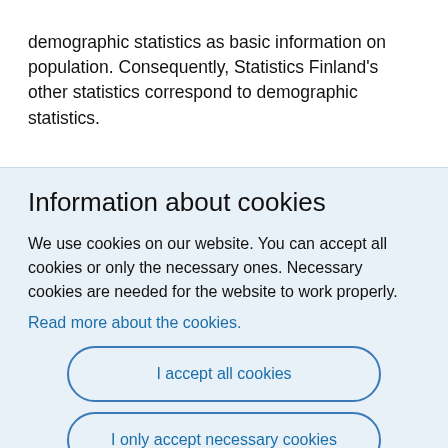demographic statistics as basic information on population. Consequently, Statistics Finland's other statistics correspond to demographic statistics.
Information about cookies
We use cookies on our website. You can accept all cookies or only the necessary ones. Necessary cookies are needed for the website to work properly.
Read more about the cookies.
I accept all cookies
I only accept necessary cookies